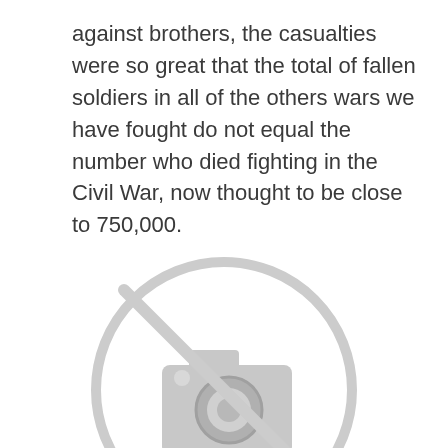against brothers, the casualties were so great that the total of fallen soldiers in all of the others wars we have fought do not equal the number who died fighting in the Civil War, now thought to be close to 750,000.
[Figure (illustration): A blurred, grayed-out placeholder image icon showing a camera symbol inside a circle with a diagonal line through it, indicating an unavailable or missing image.]